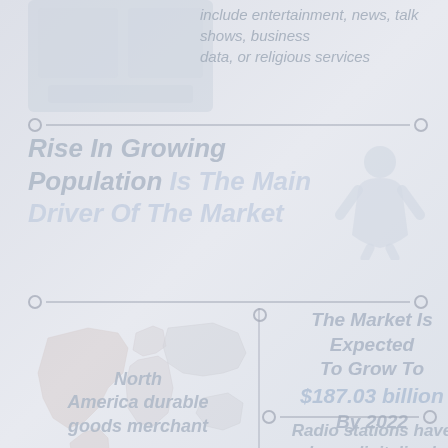include entertainment, news, talk shows, business data, or religious services
[Figure (illustration): Faded square image top left, possibly a photo or icon related to the market topic]
Rise In Growing Population Is The Main Driver Of The Market
[Figure (illustration): Faded person/population icon on the right side]
[Figure (map): Faded world map highlighting North America region]
North America durable goods merchant
The Market Is Expected To Grow To $187.03 billion By 2022
Radio stations have been digitalized